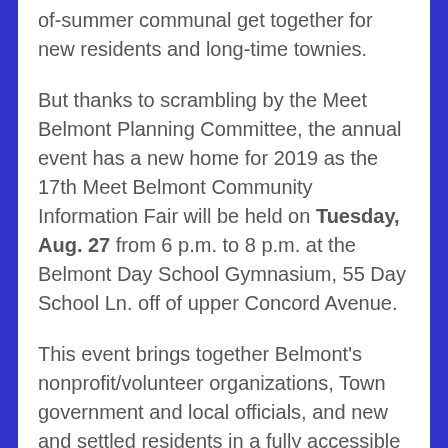of-summer communal get together for new residents and long-time townies.
But thanks to scrambling by the Meet Belmont Planning Committee, the annual event has a new home for 2019 as the 17th Meet Belmont Community Information Fair will be held on Tuesday, Aug. 27 from 6 p.m. to 8 p.m. at the Belmont Day School Gymnasium, 55 Day School Ln. off of upper Concord Avenue.
This event brings together Belmont's nonprofit/volunteer organizations, Town government and local officials, and new and settled residents in a fully accessible and friendly environment.